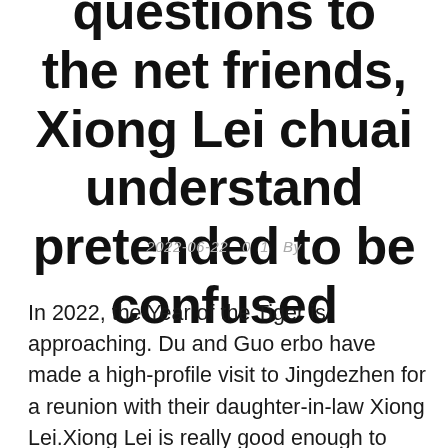questions to the net friends, Xiong Lei chuai understand pretended to be confused
2022-06-22   0  1   By
In 2022, the Year of the Tiger is approaching. Du and Guo erbo have made a high-profile visit to Jingdezhen for a reunion with their daughter-in-law Xiong Lei.Xiong Lei is really good enough to take care of Aunt Du and Guo Erbo in every possible way. He also buys clothes and shoes, and helps Guo Erbo to dress, make beds and tie shoelaces.To this, Xiong Lei's father and mother are envious.No wonder Aunt Du said xiong Lei was a model of The Times.A great